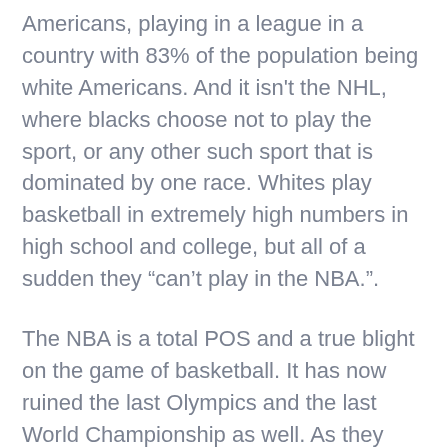Americans, playing in a league in a country with 83% of the population being white Americans. And it isn't the NHL, where blacks choose not to play the sport, or any other such sport that is dominated by one race. Whites play basketball in extremely high numbers in high school and college, but all of a sudden they “can’t play in the NBA.”.
The NBA is a total POS and a true blight on the game of basketball. It has now ruined the last Olympics and the last World Championship as well. As they have now also become predetermined “competitions”, NBA style.